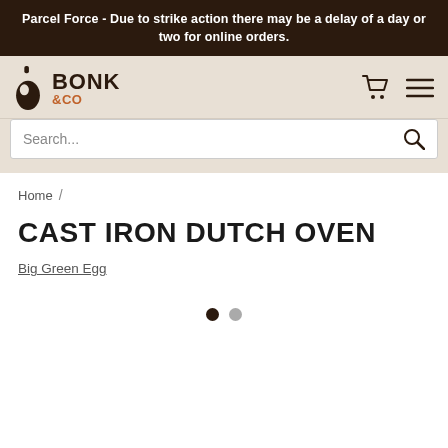Parcel Force - Due to strike action there may be a delay of a day or two for online orders.
[Figure (logo): Bonk & Co logo with stylized B icon and bold text BONK &CO]
Search...
Home /
CAST IRON DUTCH OVEN
Big Green Egg
[Figure (other): Image carousel navigation dots — one filled dark dot and one grey dot]